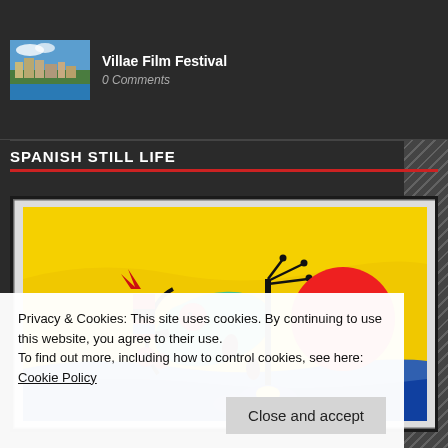[Figure (photo): Thumbnail photo of a coastal city with blue sky and buildings on hillside - Villae Film Festival listing]
Villae Film Festival
0 Comments
SPANISH STILL LIFE
[Figure (photo): Miró-style artwork on yellow background with abstract figures, red circle (sun), teal bird-like creature, and black organic shapes]
Privacy & Cookies: This site uses cookies. By continuing to use this website, you agree to their use.
To find out more, including how to control cookies, see here: Cookie Policy

Close and accept